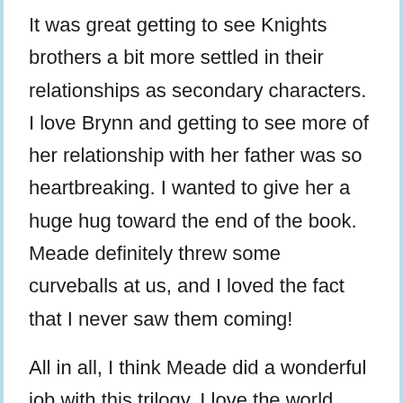It was great getting to see Knights brothers a bit more settled in their relationships as secondary characters. I love Brynn and getting to see more of her relationship with her father was so heartbreaking. I wanted to give her a huge hug toward the end of the book. Meade definitely threw some curveballs at us, and I loved the fact that I never saw them coming!
All in all, I think Meade did a wonderful job with this trilogy. I love the world building and the characters. Although the romance occasionally took a backseat to the overall plot, it worked for